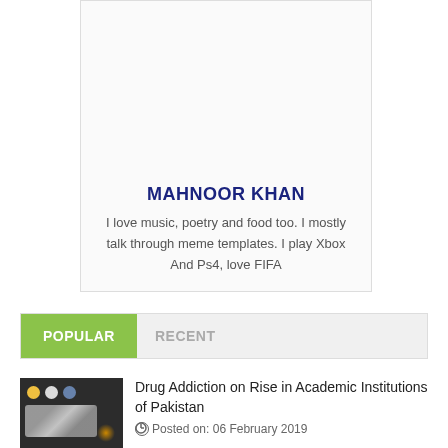[Figure (photo): Profile photo of Mahnoor Khan holding a document/certificate, wearing a white blouse with dark spots pattern, person in orange shirt partially visible on left]
MAHNOOR KHAN
I love music, poetry and food too. I mostly talk through meme templates. I play Xbox And Ps4, love FIFA
POPULAR    RECENT
[Figure (photo): Thumbnail image showing drug paraphernalia including pills and foil]
Drug Addiction on Rise in Academic Institutions of Pakistan
Posted on: 06 February 2019